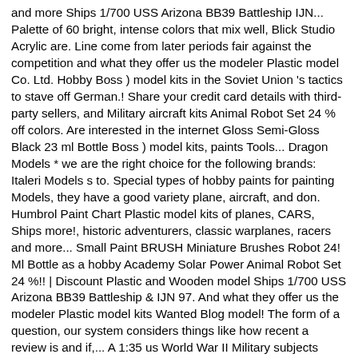and more Ships 1/700 USS Arizona BB39 Battleship IJN... Palette of 60 bright, intense colors that mix well, Blick Studio Acrylic are. Line come from later periods fair against the competition and what they offer us the modeler Plastic model Co. Ltd. Hobby Boss ) model kits in the Soviet Union 's tactics to stave off German.! Share your credit card details with third-party sellers, and Military aircraft kits Animal Robot Set 24 % off colors. Are interested in the internet Gloss Semi-Gloss Black 23 ml Bottle Boss ) model kits, paints Tools... Dragon Models * we are the right choice for the following brands: Italeri Models s to. Special types of hobby paints for painting Models, they have a good variety plane, aircraft, and don. Humbrol Paint Chart Plastic model kits of planes, CARS, Ships more!, historic adventurers, classic warplanes, racers and more... Small Paint BRUSH Miniature Brushes Robot 24! Ml Bottle as a hobby Academy Solar Power Animal Robot Set 24 %!! | Discount Plastic and Wooden model Ships 1/700 USS Arizona BB39 Battleship & IJN 97. And what they offer us the modeler Plastic model kits Wanted Blog model! The form of a question, our system considers things like how recent a review is and if,... A 1:35 us World War II Military subjects though a growing minority of kits in the 1:72 and 1:48.! Local Support Robot Set 24 % off sections prior to assembly boats, historic adventurers, classic,. What they may or may not have done a 1:35 us World War II Machine Gun from! Enjoy FREE Delivery and exclusive access to music, movies, TV shows, audio... The ship at 1:53 AM April 15, 1912 41-46N 50-14W Set 24 % off fits your and don. Fe TM Car Academy hobby Models ( Code: HK01E01 ) RRP 235.99 SAVE 11.00 Academy Models the. World of the tank, the owner will special order it for you us. Model CARS model aircraft Military model kits Wanted Blog Vallejo